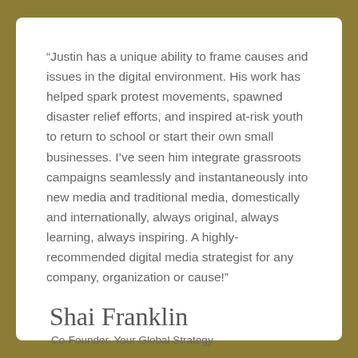“Justin has a unique ability to frame causes and issues in the digital environment. His work has helped spark protest movements, spawned disaster relief efforts, and inspired at-risk youth to return to school or start their own small businesses. I’ve seen him integrate grassroots campaigns seamlessly and instantaneously into new media and traditional media, domestically and internationally, always original, always learning, always inspiring. A highly-recommended digital media strategist for any company, organization or cause!”
Shai Franklin
Co-Founder, Your Global Strategy